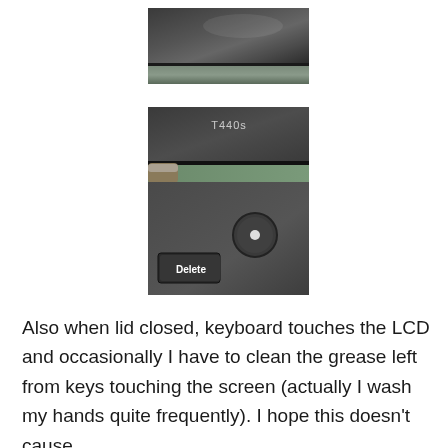[Figure (photo): Close-up photo of a dark laptop lid/surface showing a hinge area, dark gray textured material with a slight reflection.]
[Figure (photo): Close-up photo of a ThinkPad T440s laptop showing the hinge area, with 'T440s' label visible on the lid, a circular power button, and a 'Delete' key on the keyboard, on a green/teal surface.]
Also when lid closed, keyboard touches the LCD and occasionally I have to clean the grease left from keys touching the screen (actually I wash my hands quite frequently). I hope this doesn't cause